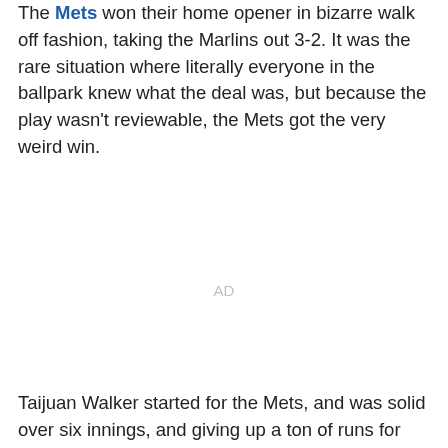The Mets won their home opener in bizarre walk off fashion, taking the Marlins out 3-2. It was the rare situation where literally everyone in the ballpark knew what the deal was, but because the play wasn't reviewable, the Mets got the very weird win.
AD
Taijuan Walker started for the Mets, and was solid over six innings, and giving up a ton of runs for hitting with